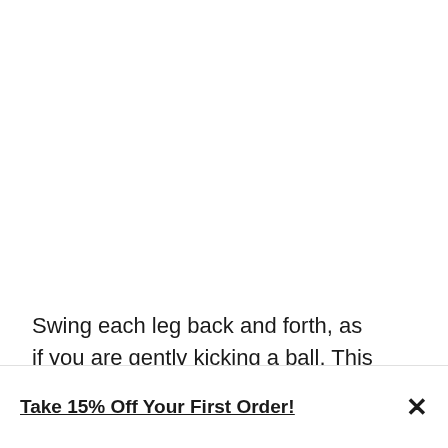Swing each leg back and forth, as if you are gently kicking a ball. This isn't a powerful movement, just a gentle pendulum to reach the maximum stretch po...
[Figure (other): Teal/green circular chat support button with speech bubble icon, partially overlapping the body text at the right side]
Take 15% Off Your First Order!